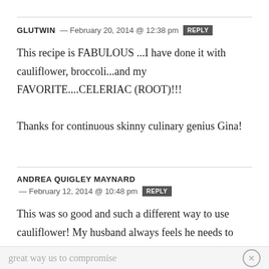GLUTWIN — February 20, 2014 @ 12:38 pm [REPLY]
This recipe is FABULOUS ...I have done it with cauliflower, broccoli...and my FAVORITE....CELERIAC (ROOT)!!!

Thanks for continuous skinny culinary genius Gina!
ANDREA QUIGLEY MAYNARD — February 12, 2014 @ 10:48 pm [REPLY]
This was so good and such a different way to use cauliflower! My husband always feels he needs to have a starch/grain with every meal (and I don't) and this was a great way us to compromise